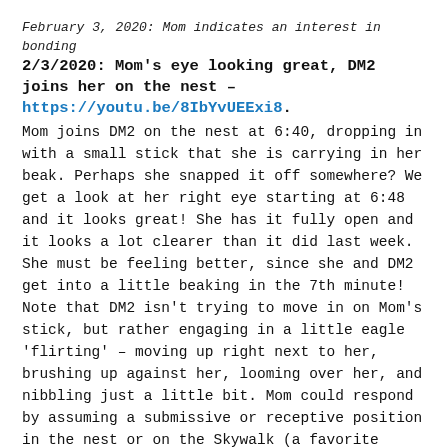February 3, 2020: Mom indicates an interest in bonding
2/3/2020: Mom's eye looking great, DM2 joins her on the nest – https://youtu.be/8IbYvUEExi8
Mom joins DM2 on the nest at 6:40, dropping in with a small stick that she is carrying in her beak. Perhaps she snapped it off somewhere? We get a look at her right eye starting at 6:48 and it looks great! She has it fully open and it looks a lot clearer than it did last week. She must be feeling better, since she and DM2 get into a little beaking in the 7th minute! Note that DM2 isn't trying to move in on Mom's stick, but rather engaging in a little eagle 'flirting' – moving up right next to her, brushing up against her, looming over her, and nibbling just a little bit. Mom could respond by assuming a submissive or receptive position in the nest or on the Skywalk (a favorite bonding perch), or she could 'get tall', which she does here, perhaps